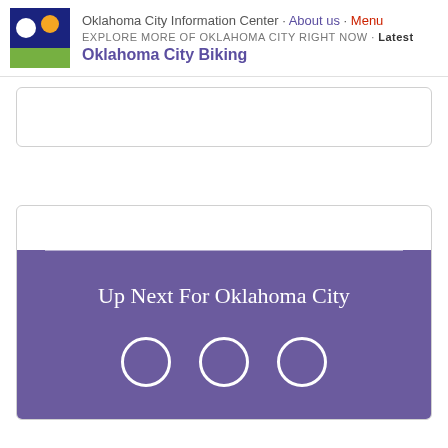Oklahoma City Information Center · About us · Menu
EXPLORE MORE OF OKLAHOMA CITY RIGHT NOW · Latest
Oklahoma City Biking
[Figure (other): Empty white card placeholder]
Up Next For Oklahoma City
[Figure (other): Three empty circles (carousel indicators) on purple background]